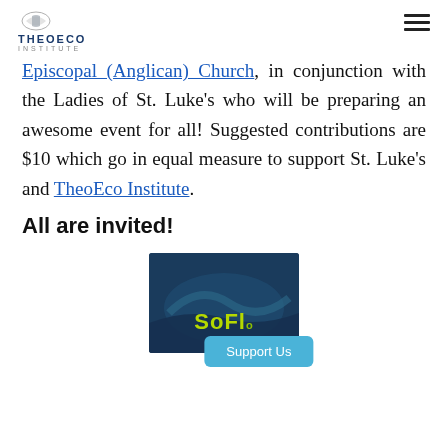THEOECO INSTITUTE
Episcopal (Anglican) Church, in conjunction with the Ladies of St. Luke’s who will be preparing an awesome event for all! Suggested contributions are $10 which go in equal measure to support St. Luke’s and TheoEco Institute.
All are invited!
[Figure (photo): Film poster for a TheoEco Institute film showing aerial coastline imagery with the text 'So Flo' in green letters, with a 'Support Us' button overlay at the bottom.]